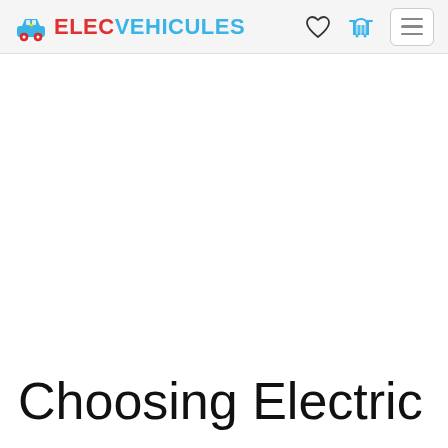ELECVEHICULES
Choosing Electric